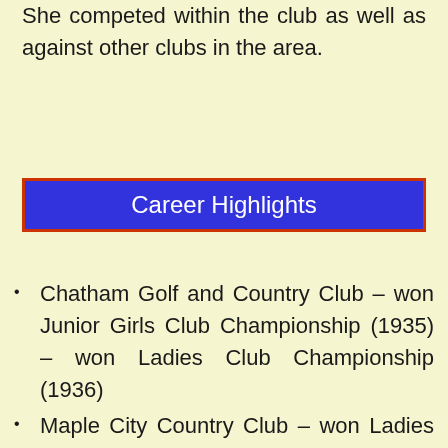She competed within the club as well as against other clubs in the area.
Career Highlights
Chatham Golf and Country Club – won Junior Girls Club Championship (1935) – won Ladies Club Championship (1936)
Maple City Country Club – won Ladies Club Championship 6 times (1963, ’65, ’67, ’70, ’78, ’80) and was finalist 3 times (1966, ’79, ’83) – won Ladies Handicap Trophy 2 times (1959, ’85) – was Ladies